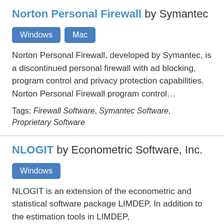Norton Personal Firewall by Symantec
Windows  Mac
Norton Personal Firewall, developed by Symantec, is a discontinued personal firewall with ad blocking, program control and privacy protection capabilities. Norton Personal Firewall program control…
Tags: Firewall Software, Symantec Software, Proprietary Software
NLOGIT by Econometric Software, Inc.
Windows
NLOGIT is an extension of the econometric and statistical software package LIMDEP. In addition to the estimation tools in LIMDEP,